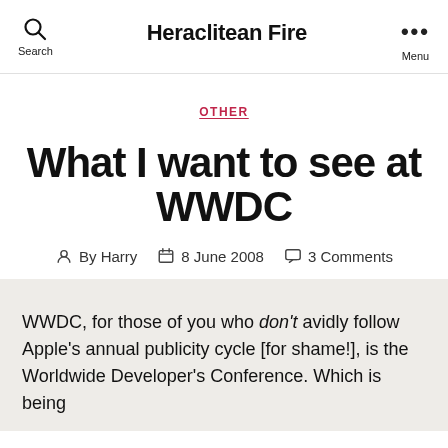Heraclitean Fire
OTHER
What I want to see at WWDC
By Harry  8 June 2008  3 Comments
WWDC, for those of you who don't avidly follow Apple's annual publicity cycle [for shame!], is the Worldwide Developer's Conference. Which is being